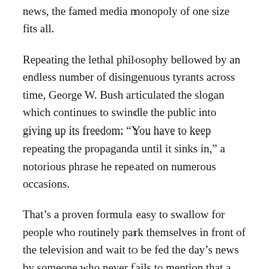news, the famed media monopoly of one size fits all.
Repeating the lethal philosophy bellowed by an endless number of disingenuous tyrants across time, George W. Bush articulated the slogan which continues to swindle the public into giving up its freedom: “You have to keep repeating the propaganda until it sinks in,” a notorious phrase he repeated on numerous occasions.
That’s a proven formula easy to swallow for people who routinely park themselves in front of the television and wait to be fed the day’s news by someone who never fails to mention that a long time ago six million jews were murdered by the greatest villain in world history. This is a story that has never been proven but is endlessly repeated.
Humanity is losing its freedom because in the final analysis, humans don’t wish to be wish to be free — they only wish to be happy, well fed and not bothered by